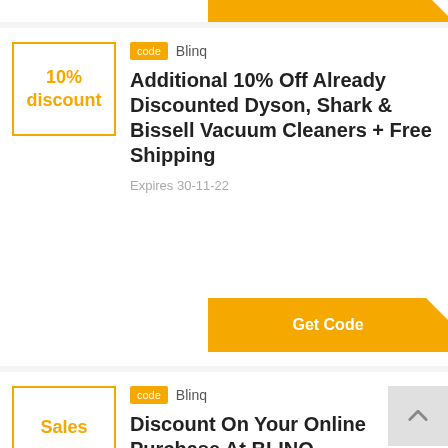[Figure (screenshot): Top strip with partial yellow Get Code button visible]
code  Blinq
Additional 10% Off Already Discounted Dyson, Shark & Bissell Vacuum Cleaners + Free Shipping
Expires 30-11-22
Get Code
code  Blinq
Discount On Your Online Purchase At BLINQ
Expires 31-10-22
Get Code